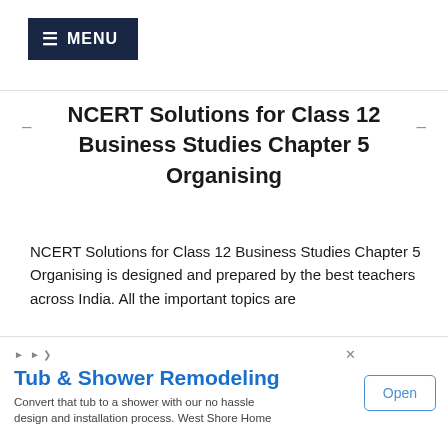≡ MENU
NCERT Solutions for Class 12 Business Studies Chapter 5 Organising
NCERT Solutions for Class 12 Business Studies Chapter 5 Organising is designed and prepared by the best teachers across India. All the important topics are covered in the exercises and each answer comes with a
[Figure (screenshot): Advertisement banner: Tub & Shower Remodeling by West Shore Home with Open button]